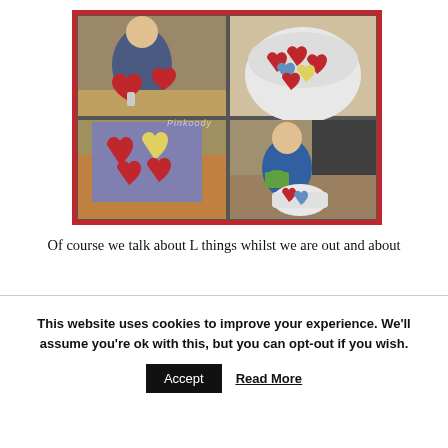[Figure (photo): A collage of four photos showing children doing a hearts craft activity. Top-left: a toddler gluing red heart shapes onto paper. Top-right: a white bowl filled with colorful foam/paper heart cutouts in red, blue, and yellow. Bottom-left: a purple paper with red and yellow heart shapes glued on. Bottom-right: a child sorting heart cutouts into a white bowl. A watermark reading 'Pinkoody' or similar appears in the center.]
Of course we talk about L things whilst we are out and about
This website uses cookies to improve your experience. We'll assume you're ok with this, but you can opt-out if you wish.